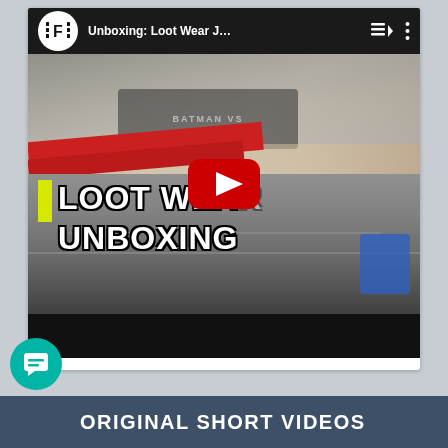[Figure (screenshot): YouTube embedded video player showing 'Unboxing: Loot Wear J...' with a channel logo (F in a circle), playlist and more icons in the top bar, and a thumbnail showing a person unboxing Loot Wear items with text 'LOOT WEAR UNBOXING' overlaid and a YouTube play button in the center]
ORIGINAL SHORT VIDEOS